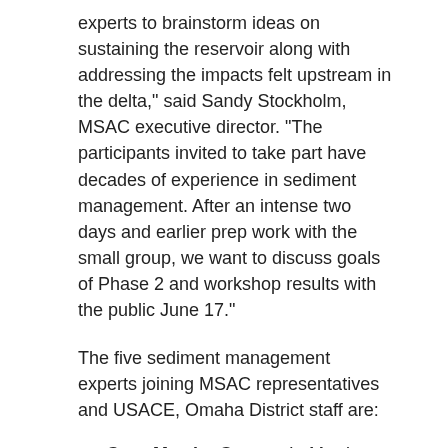experts to brainstorm ideas on sustaining the reservoir along with addressing the impacts felt upstream in the delta," said Sandy Stockholm, MSAC executive director.  "The participants invited to take part have decades of experience in sediment management. After an intense two days and earlier prep work with the small group, we want to discuss goals of Phase 2 and workshop results with the public June 17."
The five sediment management experts joining MSAC representatives and USACE, Omaha District staff are:
Greg Morris: Gregory L. Morris, P.E., Ph.D., possesses key technical knowledge on reservoir sedimentation management strategies and specializes in hydrology, hydraulics, water supply